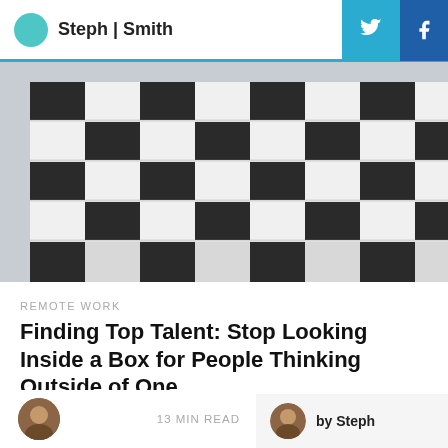Steph | Smith
[Figure (photo): Aerial/angled view of a modern building facade with a black and white checkered pattern of window panels and rectangular architectural elements]
REMOTE WORK
Finding Top Talent: Stop Looking Inside a Box for People Thinking Outside of One
When you're looking for innovative and action-driven talent, why not open your doors up to people that have already pioneered their own lives?
13 MIN READ
by Steph